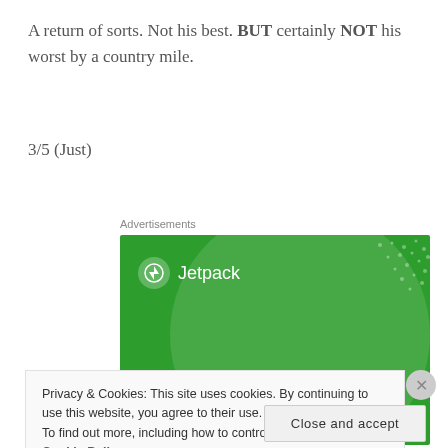A return of sorts. Not his best. BUT certainly NOT his worst by a country mile.
3/5 (Just)
Advertisements
[Figure (illustration): Jetpack plugin advertisement banner with green background showing Jetpack logo and the text 'The best real-time WordPress backup plugin']
Privacy & Cookies: This site uses cookies. By continuing to use this website, you agree to their use.
To find out more, including how to control cookies, see here: Cookie Policy
Close and accept